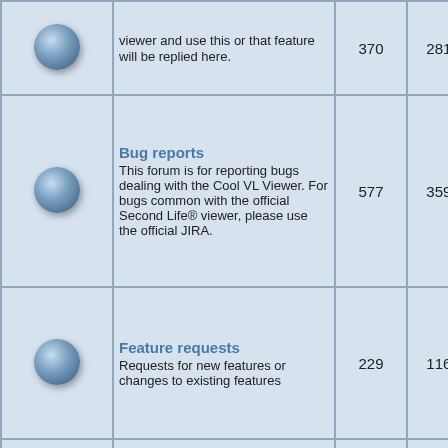| Icon | Forum | Posts | Topics | Last post |
| --- | --- | --- | --- | --- |
| [ball] | viewer and use this or that feature will be replied here. | 370 | 2810 | Henri Beauchamp |
| [ball] | Bug reports
This forum is for reporting bugs dealing with the Cool VL Viewer. For bugs common with the official Second Life® viewer, please use the official JIRA. | 577 | 3590 | 2022-08-07 22:30:44
ZaneZimer |
| [ball] | Feature requests
Requests for new features or changes to existing features | 229 | 1160 | 2022-08-13 21:53:50
Henri Beauchamp |
| [ball] | Contributions
Contributions from users and external developers to the Cool VL Viewer code
(C++ code, Lua scripts, UI skins/themes, Ll... | 17 | 168 | 2022-06-28 14:23:16
DonFranko |